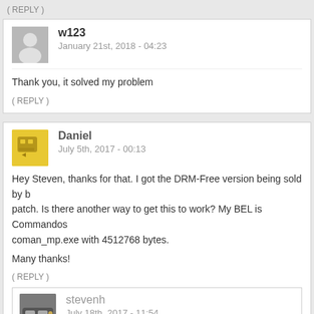( REPLY )
w123
January 21st, 2018 - 04:23
Thank you, it solved my problem
( REPLY )
Daniel
July 5th, 2017 - 00:13
Hey Steven, thanks for that. I got the DRM-Free version being sold by b patch. Is there another way to get this to work? My BEL is Commandos coman_mp.exe with 4512768 bytes.

Many thanks!
( REPLY )
stevenh
July 18th, 2017 - 11:54
Daniel